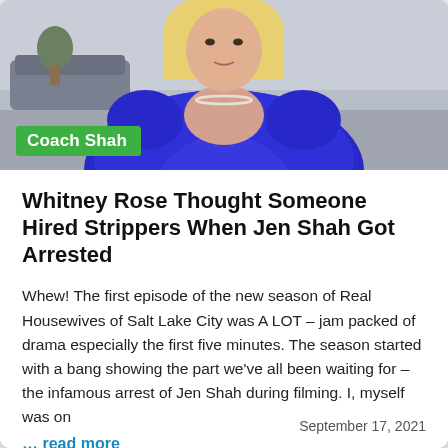[Figure (photo): Photo of a blonde woman wearing a blue dress with a pearl necklace, with a green badge overlay reading 'Coach Shah']
Whitney Rose Thought Someone Hired Strippers When Jen Shah Got Arrested
Whew! The first episode of the new season of Real Housewives of Salt Lake City was A LOT – jam packed of drama especially the first five minutes. The season started with a bang showing the part we've all been waiting for – the infamous arrest of Jen Shah during filming. I, myself was on
… read more
September 17, 2021